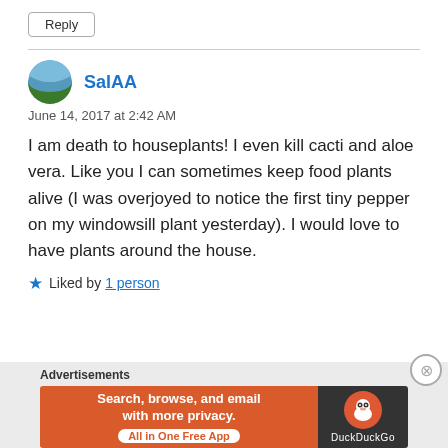Reply
SalAA
June 14, 2017 at 2:42 AM
I am death to houseplants! I even kill cacti and aloe vera. Like you I can sometimes keep food plants alive (I was overjoyed to notice the first tiny pepper on my windowsill plant yesterday). I would love to have plants around the house.
Liked by 1 person
Advertisements
[Figure (screenshot): DuckDuckGo advertisement banner: orange background with text 'Search, browse, and email with more privacy. All in One Free App' and DuckDuckGo logo on dark background]